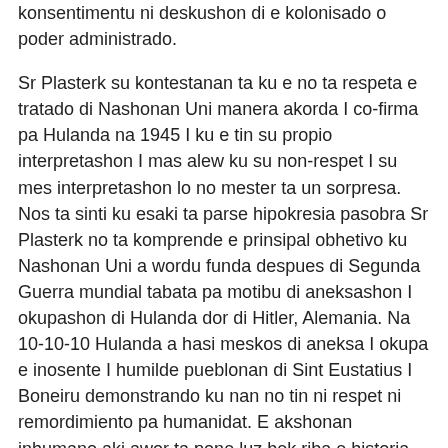konsentimentu ni deskushon di e kolonisado o poder administrado.
Sr Plasterk su kontestanan ta ku e no ta respeta e tratado di Nashonan Uni manera akorda I co-firma pa Hulanda na 1945 I ku e tin su propio interpretashon I mas alew ku su non-respet I su mes interpretashon lo no mester ta un sorpresa. Nos ta sinti ku esaki ta parse hipokresia pasobra Sr Plasterk no ta komprende e prinsipal obhetivo ku Nashonan Uni a wordu funda despues di Segunda Guerra mundial tabata pa motibu di aneksashon I okupashon di Hulanda dor di Hitler, Alemania. Na 10-10-10 Hulanda a hasi meskos di aneksa I okupa e inosente I humilde pueblonan di Sint Eustatius I Boneiru demonstrando ku nan no tin ni respet ni remordimiento pa humanidat. E akshonan inhumano aki awor ta pone luz bek riba e historia skur kolonial Hulandes, ja kaminda nos tabata hopi adelanta den e proseso di rekonsiliashon I kurashon pero awor Sr Plasterk I koleganan ta reinkarnashon di e taboo, kaminda ku e Hulandesnan tabata e kolonisadonan di mas kruel di mundu. Nos ta invita Sr Plasterk I koleganan pa mira un resumen kortiku di"loke kada Hulandes mester sa" I mas importante